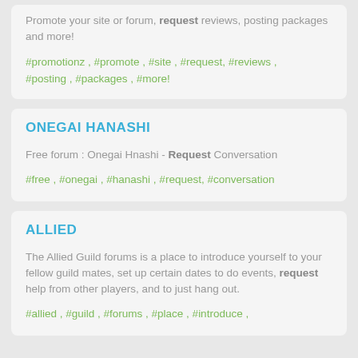Promote your site or forum, request reviews, posting packages and more!
#promotionz , #promote , #site , #request, #reviews , #posting , #packages , #more!
ONEGAI HANASHI
Free forum : Onegai Hnashi - Request Conversation
#free , #onegai , #hanashi , #request, #conversation
ALLIED
The Allied Guild forums is a place to introduce yourself to your fellow guild mates, set up certain dates to do events, request help from other players, and to just hang out.
#allied , #guild , #forums , #place , #introduce ,